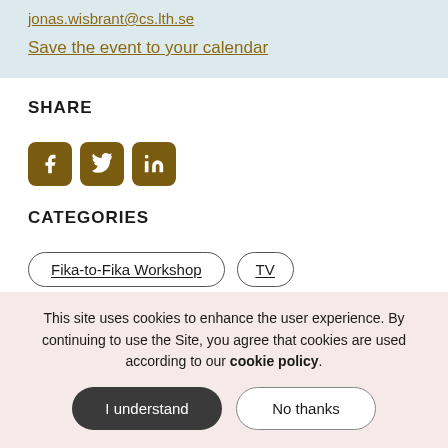jonas.wisbrant@cs.lth.se
Save the event to your calendar
SHARE
[Figure (other): Social media share icons for Facebook, Twitter, and LinkedIn]
CATEGORIES
Fika-to-Fika Workshop
TV
This site uses cookies to enhance the user experience. By continuing to use the Site, you agree that cookies are used according to our cookie policy.
I understand
No thanks